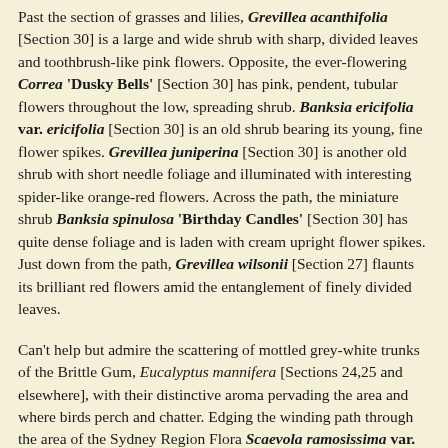Past the section of grasses and lilies, Grevillea acanthifolia [Section 30] is a large and wide shrub with sharp, divided leaves and toothbrush-like pink flowers. Opposite, the ever-flowering Correa 'Dusky Bells' [Section 30] has pink, pendent, tubular flowers throughout the low, spreading shrub. Banksia ericifolia var. ericifolia [Section 30] is an old shrub bearing its young, fine flower spikes. Grevillea juniperina [Section 30] is another old shrub with short needle foliage and illuminated with interesting spider-like orange-red flowers. Across the path, the miniature shrub Banksia spinulosa 'Birthday Candles' [Section 30] has quite dense foliage and is laden with cream upright flower spikes. Just down from the path, Grevillea wilsonii [Section 27] flaunts its brilliant red flowers amid the entanglement of finely divided leaves.
Can't help but admire the scattering of mottled grey-white trunks of the Brittle Gum, Eucalyptus mannifera [Sections 24,25 and elsewhere], with their distinctive aroma pervading the area and where birds perch and chatter. Edging the winding path through the area of the Sydney Region Flora Scaevola ramosissima var. ramosissima [Section 191] is a small compact shrub decorated with bright mauve fan flowers. Spyridium sp. [Section 191] is quite unique for this upright, small shrub has clusters of minute flowers encircled by distinctive greyish leaves. Banksia serrata [Section 191] is a tall, dense, dark shrub alight with many bulky